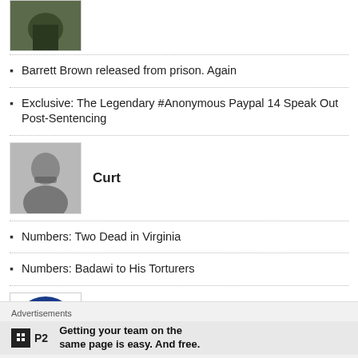[Figure (photo): Partial author avatar photo at top, cropped]
Barrett Brown released from prison. Again
Exclusive: The Legendary #Anonymous Paypal 14 Speak Out Post-Sentencing
[Figure (photo): Author photo of Curt, a man in glasses]
Curt
Numbers: Two Dead in Virginia
Numbers: Badawi to His Torturers
[Figure (logo): raincoaster logo — blue circle with white eye/lens design]
raincoaster
IT Army of Ukraine celebrates Ukrainian Independence Day by Defacing Major ISPs in Occupied Crimea
Advertisements
Getting your team on the same page is easy. And free.